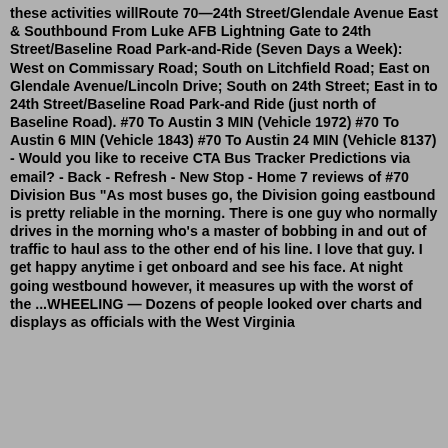these activities willRoute 70—24th Street/Glendale Avenue East & Southbound From Luke AFB Lightning Gate to 24th Street/Baseline Road Park-and-Ride (Seven Days a Week): West on Commissary Road; South on Litchfield Road; East on Glendale Avenue/Lincoln Drive; South on 24th Street; East in to 24th Street/Baseline Road Park-and Ride (just north of Baseline Road). #70 To Austin 3 MIN (Vehicle 1972) #70 To Austin 6 MIN (Vehicle 1843) #70 To Austin 24 MIN (Vehicle 8137) - Would you like to receive CTA Bus Tracker Predictions via email? - Back - Refresh - New Stop - Home 7 reviews of #70 Division Bus "As most buses go, the Division going eastbound is pretty reliable in the morning. There is one guy who normally drives in the morning who's a master of bobbing in and out of traffic to haul ass to the other end of his line. I love that guy. I get happy anytime i get onboard and see his face. At night going westbound however, it measures up with the worst of the ...WHEELING — Dozens of people looked over charts and displays as officials with the West Virginia